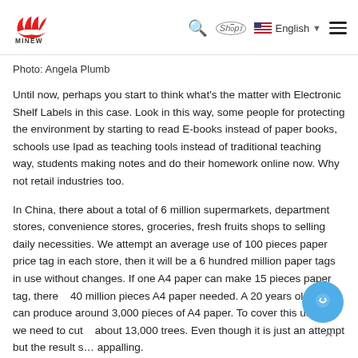MINEW [logo] | Search | Shopify | English | Menu
Photo: Angela Plumb
Until now, perhaps you start to think what's the matter with Electronic Shelf Labels in this case. Look in this way, some people for protecting the environment by starting to read E-books instead of paper books, schools use Ipad as teaching tools instead of traditional teaching way, students making notes and do their homework online now. Why not retail industries too.
In China, there about a total of 6 million supermarkets, department stores, convenience stores, groceries, fresh fruits shops to selling daily necessities. We attempt an average use of 100 pieces paper price tag in each store, then it will be a 6 hundred million paper tags in use without changes. If one A4 paper can make 15 pieces paper tag, there 40 million pieces A4 paper needed. A 20 years old tree can produce around 3,000 pieces of A4 paper. To cover this usage, we need to cut about 13,000 trees. Even though it is just an attempt but the result still appalling.